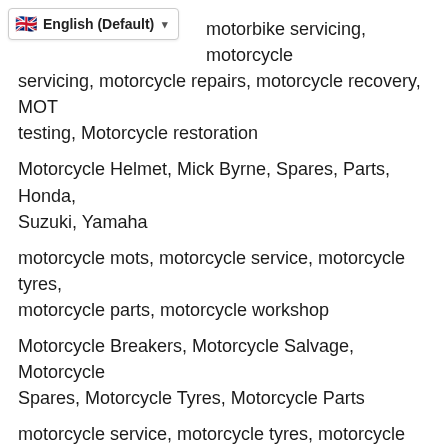English (Default)
motorbike servicing, motorcycle servicing, motorcycle repairs, motorcycle recovery, MOT testing, Motorcycle restoration
Motorcycle Helmet, Mick Byrne, Spares, Parts, Honda, Suzuki, Yamaha
motorcycle mots, motorcycle service, motorcycle tyres, motorcycle parts, motorcycle workshop
Motorcycle Breakers, Motorcycle Salvage, Motorcycle Spares, Motorcycle Tyres, Motorcycle Parts
motorcycle service, motorcycle tyres, motorcycle mechanic, motorcycle recovery, motorcycle service in Southall
Motorcycles, repairs, Alloy welding, motorbike, crash